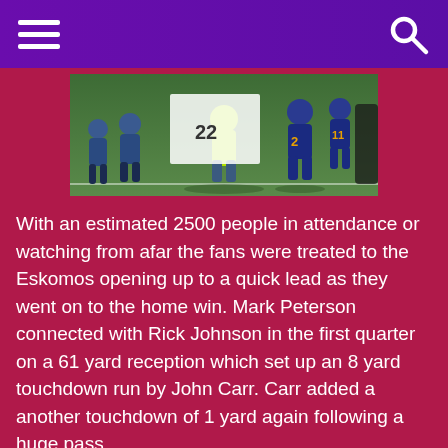Navigation header with hamburger menu and search icon
[Figure (photo): Youth football players running onto field, one wearing blue uniform with number 11 and yellow number, another in green shirt, others in blue and white uniforms, on a grass field]
With an estimated 2500 people in attendance or watching from afar the fans were treated to the Eskomos opening up to a quick lead as they went on to the home win. Mark Peterson connected with Rick Johnson in the first quarter on a 61 yard reception which set up an 8 yard touchdown run by John Carr. Carr added a another touchdown of 1 yard again following a huge pass